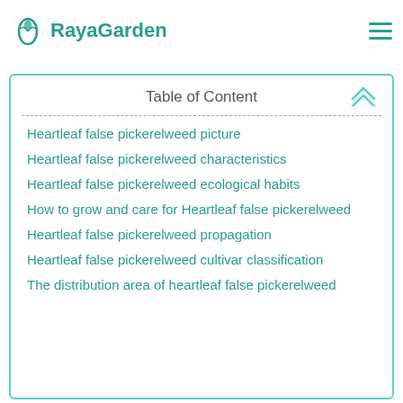RayaGarden
Hunan and other provinces of China. In addition, North Korea, Russia, and Japan also have it.
| Table of Content |
| --- |
| Heartleaf false pickerelweed picture |
| Heartleaf false pickerelweed characteristics |
| Heartleaf false pickerelweed ecological habits |
| How to grow and care for Heartleaf false pickerelweed |
| Heartleaf false pickerelweed propagation |
| Heartleaf false pickerelweed cultivar classification |
| The distribution area of heartleaf false pickerelweed |